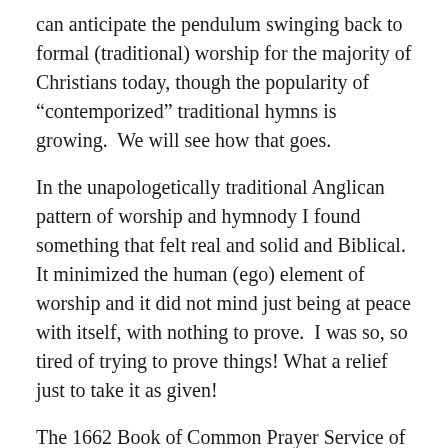can anticipate the pendulum swinging back to formal (traditional) worship for the majority of Christians today, though the popularity of "contemporized" traditional hymns is growing.  We will see how that goes.
In the unapologetically traditional Anglican pattern of worship and hymnody I found something that felt real and solid and Biblical.  It minimized the human (ego) element of worship and it did not mind just being at peace with itself, with nothing to prove.  I was so, so tired of trying to prove things! What a relief just to take it as given!
The 1662 Book of Common Prayer Service of Holy Communion was “there” for me, just when I needed all that it had to offer. It was there when I wandered out of the wilderness, when my pendulum began its swing back to sanity.  Through it I was reminded of God’s faithfulness, it gave me the words to say what was bottled up in my heart, and invited me to say things that were not yet in my heart